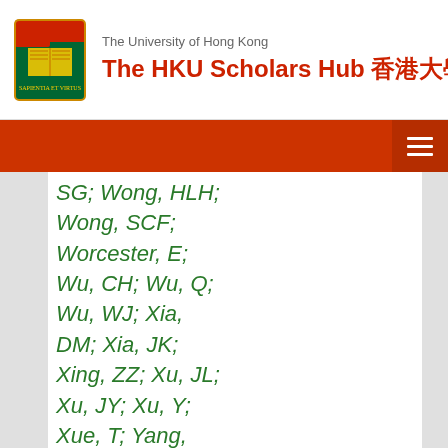The University of Hong Kong — The HKU Scholars Hub 香港大學學術庫
SG; Wong, HLH; Wong, SCF; Worcester, E; Wu, CH; Wu, Q; Wu, WJ; Xia, DM; Xia, JK; Xing, ZZ; Xu, JL; Xu, JY; Xu, Y; Xue, T; Yang, CG; Yang, H; Yang, L; Yang, MS; Yang, MT; Ye, M; Ye, Z; Yeh, M; Young, BL; Yu, ZY; Zeng, S; Zhan, L; Zhang, C; Zhang, HH; Zhong, JW;